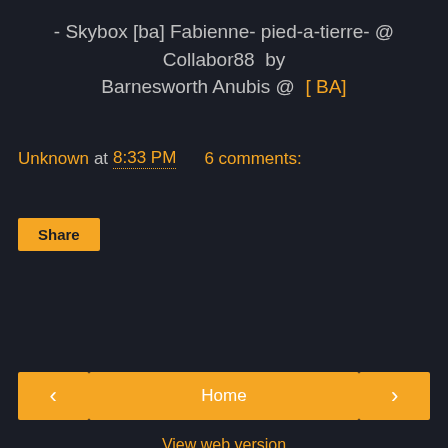- Skybox [ba] Fabienne- pied-a-tierre- @ Collabor88 by Barnesworth Anubis @ [ BA]
Unknown at 8:33 PM   6 comments:
Share
< Home >
View web version